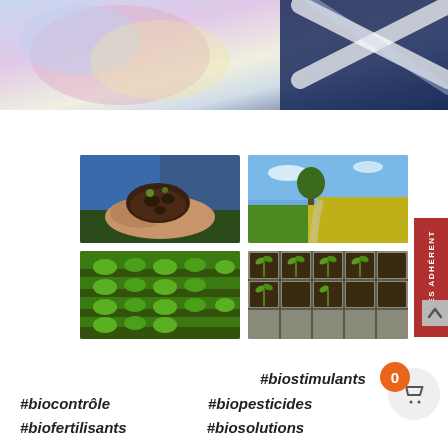[Figure (photo): Abstract blurred blue/purple/white laboratory background with crossed pipettes or scientific instruments]
[Figure (photo): 2x2 grid of agricultural photos: top-left: hands holding dark soil; top-right: yellow flowering rapeseed field with path and tree; bottom-left: rows of green leafy plants in field; bottom-right: seedlings in seed trays]
ACCÈS ADHÉRENT
#biostimulants
#biocontrôle   #biopesticides
#biofertilisants   #biosolutions